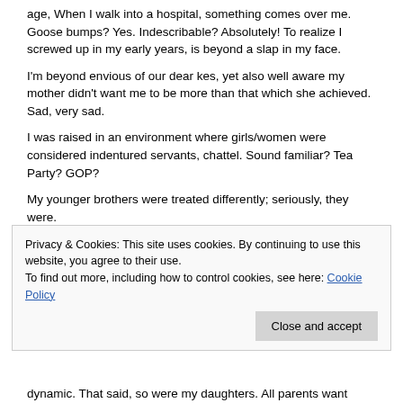age, When I walk into a hospital, something comes over me. Goose bumps? Yes. Indescribable? Absolutely! To realize I screwed up in my early years, is beyond a slap in my face.
I'm beyond envious of our dear kes, yet also well aware my mother didn't want me to be more than that which she achieved. Sad, very sad.
I was raised in an environment where girls/women were considered indentured servants, chattel. Sound familiar? Tea Party? GOP?
My younger brothers were treated differently; seriously, they were.
When I was eleven, the Mom realized she had completely fucked up and all she wanted to do was get out of the house.
Privacy & Cookies: This site uses cookies. By continuing to use this website, you agree to their use.
To find out more, including how to control cookies, see here: Cookie Policy
dynamic. That said, so were my daughters. All parents want